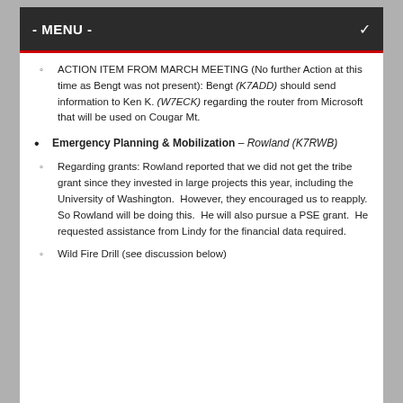- MENU -
ACTION ITEM FROM MARCH MEETING (No further Action at this time as Bengt was not present): Bengt (K7ADD) should send information to Ken K. (W7ECK) regarding the router from Microsoft that will be used on Cougar Mt.
Emergency Planning & Mobilization – Rowland (K7RWB)
Regarding grants: Rowland reported that we did not get the tribe grant since they invested in large projects this year, including the University of Washington.  However, they encouraged us to reapply.  So Rowland will be doing this.  He will also pursue a PSE grant.  He requested assistance from Lindy for the financial data required.
Wild Fire Drill (see discussion below)